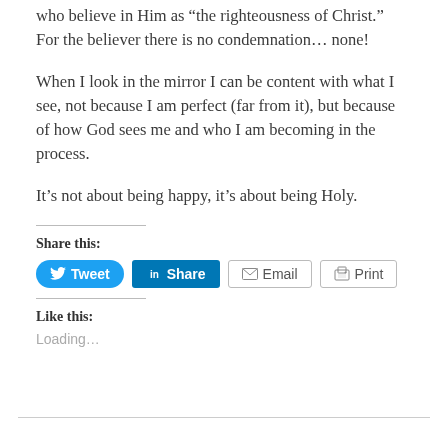who believe in Him as “the righteousness of Christ.”  For the believer there is no condemnation… none!
When I look in the mirror I can be content with what I see, not because I am perfect (far from it), but because of how God sees me and who I am becoming in the process.
It’s not about being happy, it’s about being Holy.
Share this:
[Figure (other): Social share buttons: Tweet (blue rounded), Share on LinkedIn (blue square), Email (outlined), Print (outlined)]
Like this:
Loading...